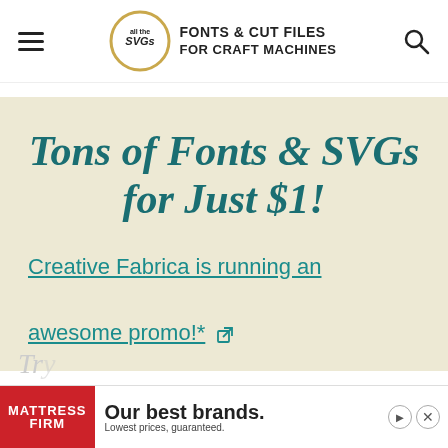all the SVGs – FONTS & CUT FILES FOR CRAFT MACHINES
[Figure (infographic): Promotional banner with cream/beige background. Large teal italic text: 'Tons of Fonts & SVGs for Just $1!' followed by a teal underlined link: 'Creative Fabrica is running an awesome promo!*' with external link icon.]
[Figure (infographic): Advertisement banner for Mattress Firm at bottom of page. Red logo box with 'MATTRESS FIRM' text, followed by 'Our best brands. Lowest prices, guaranteed.' with close and forward controls.]
Try